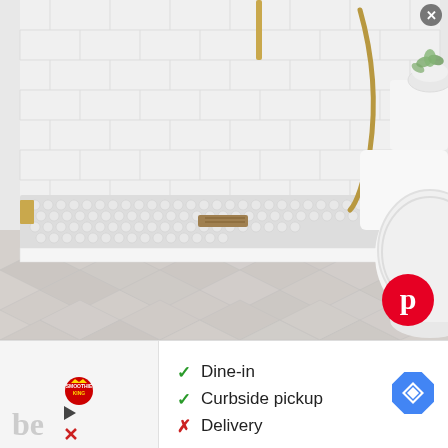[Figure (photo): Modern white bathroom interior with white subway tile shower stall, mosaic floor tiles, gold shower fixtures and hose, herringbone marble floor tiles, and a white toilet. A small plant visible in upper right corner. Pinterest logo badge in lower right.]
PHOTOG
✓ Dine-in
✓ Curbside pickup
✗ Delivery